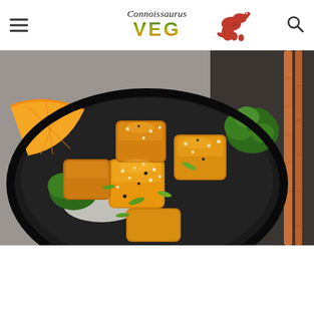Connoissaurus VEG — website header with logo, hamburger menu, and search icon
[Figure (photo): Close-up photo of orange-glazed tofu cubes topped with sesame seeds and green onions, served in a dark bowl with broccoli and orange wedge garnish, chopsticks visible on the right side]